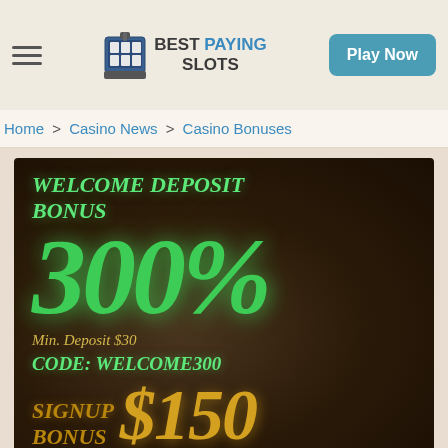BEST PAYING SLOTS | Play Now
Home > Casino News > Casino Bonuses
[Figure (photo): Casino promotional banner showing 'WELCOME DEPOSIT BONUS 300%' in green italic text on dark background, with 'Min. Deposit $30', 'CODE: WELCOME300', and 'SIGNUP BONUS $150' partially visible at bottom]